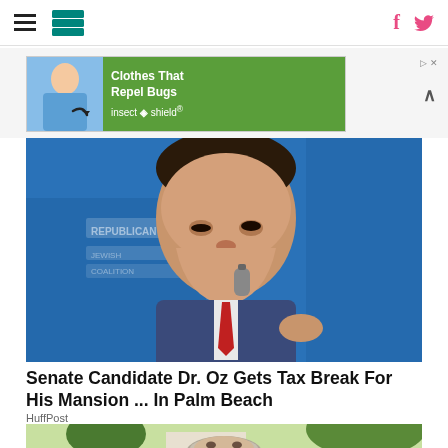HuffPost navigation with hamburger menu, logo, Facebook and Twitter icons
[Figure (screenshot): Advertisement banner: 'Clothes That Repel Bugs' by Insect Shield, showing a man in a blue shirt with an arrow pointing to shirt]
[Figure (photo): Photo of Dr. Oz speaking at a podium with a microphone, wearing a blue suit and red tie, in front of a blue Republican banner background]
Senate Candidate Dr. Oz Gets Tax Break For His Mansion ... In Palm Beach
HuffPost
[Figure (photo): Partial photo of an older man with gray hair outdoors with trees and a building in the background]